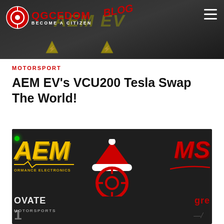QGCEDOM BECOME A CITIZEN BLOG
[Figure (photo): AEM EV branded banner/header image of an electric vehicle component, dark background with yellow AEM EV text and warning triangles]
MOTORSPORT
AEM EV's VCU200 Tesla Swap The World!
[Figure (photo): Composite promotional image showing AEM Performance Electronics logo (yellow), MS logo (red), a Q logo with Santa hat, OVATE motorsports logo, and GR logo on dark background]